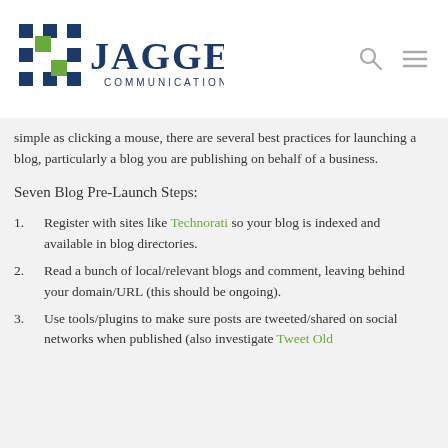Jaggers Communications
simple as clicking a mouse, there are several best practices for launching a blog, particularly a blog you are publishing on behalf of a business.
Seven Blog Pre-Launch Steps:
Register with sites like Technorati so your blog is indexed and available in blog directories.
Read a bunch of local/relevant blogs and comment, leaving behind your domain/URL (this should be ongoing).
Use tools/plugins to make sure posts are tweeted/shared on social networks when published (also investigate Tweet Old